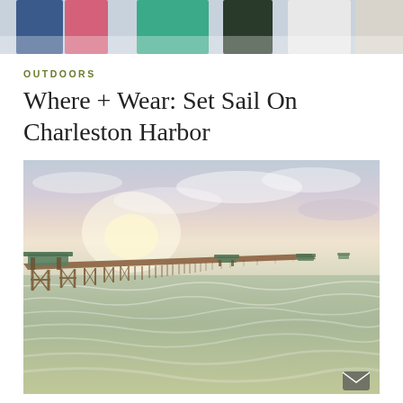[Figure (photo): Top portion of a photo showing people standing outdoors, partially cropped at top of page. Figures in various outfits including teal and white clothing.]
OUTDOORS
Where + Wear: Set Sail On Charleston Harbor
[Figure (photo): A long wooden fishing pier extending into the ocean at sunrise or sunset. Teal-roofed pavilions dot the pier. Calm green-tinted ocean water with gentle waves in the foreground, soft cloudy pastel sky above.]